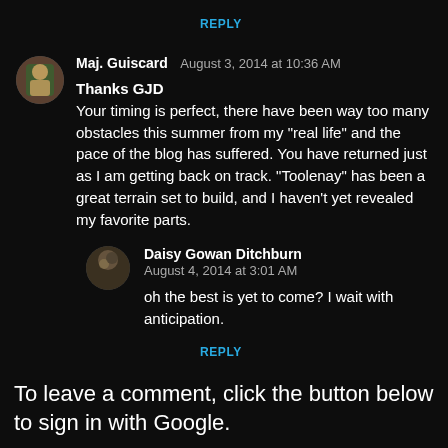REPLY
Maj. Guiscard  August 3, 2014 at 10:36 AM

Thanks GJD
Your timing is perfect, there have been way too many obstacles this summer from my "real life" and the pace of the blog has suffered. You have returned just as I am getting back on track. "Toolenay" has been a great terrain set to build, and I haven't yet revealed my favorite parts.
Daisy Gowan Ditchburn
August 4, 2014 at 3:01 AM

oh the best is yet to come? I wait with anticipation.
REPLY
To leave a comment, click the button below to sign in with Google.